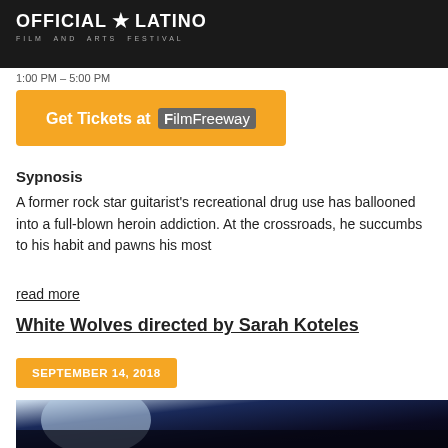[Figure (logo): Official Latino Film and Arts Festival logo — white text with star on dark background]
1:00 PM – 5:00 PM
[Figure (other): Orange button: Get Tickets at FilmFreeway]
Sypnosis
A former rock star guitarist's recreational drug use has ballooned into a full-blown heroin addiction. At the crossroads, he succumbs to his habit and pawns his most
read more
White Wolves directed by Sarah Koteles
SEPTEMBER 14, 2018
[Figure (photo): Dark cinematic still image, blue and dark tones, partial figure visible]